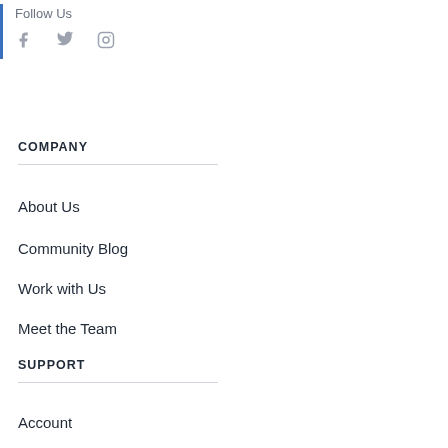Follow Us
[Figure (illustration): Social media icons: Facebook, Twitter, Instagram]
COMPANY
About Us
Community Blog
Work with Us
Meet the Team
SUPPORT
Account